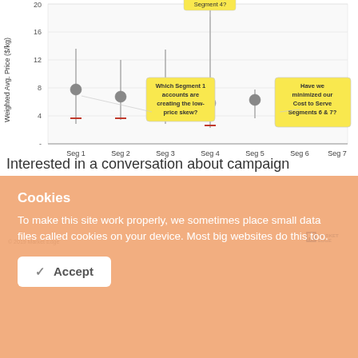[Figure (continuous-plot): Scatter/dot-and-whisker chart showing Weighted Avg. Price ($/kg) for Seg 1 through Seg 7. Each segment shows a vertical line (range), a gray dot (median/mean), and a red dash (minimum). Segment 4 is annotated at the top with a yellow callout. Seg 1 has a yellow callout 'Which Segment 1 accounts are creating the low-price skew?'. Seg 6 & 7 area has a yellow callout 'Have we minimized our Cost to Serve Segments 6 & 7?'. Y-axis labeled 'Weighted Avg. Price ($/kg)' with marks at 4, 8, 12, 16, 20.]
© 2019 Market Edge
Interested in a conversation about campaign
Cookies
To make this site work properly, we sometimes place small data files called cookies on your device. Most big websites do this too.
Accept